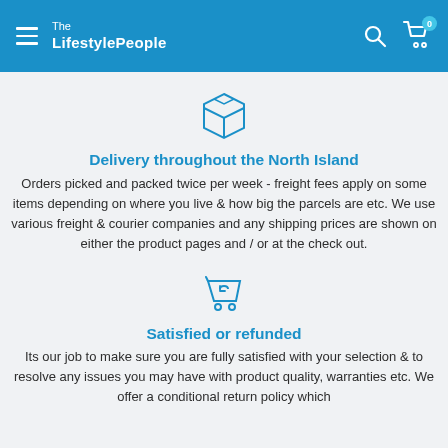The LifestylePeople
[Figure (illustration): Package/box icon in blue outline]
Delivery throughout the North Island
Orders picked and packed twice per week - freight fees apply on some items depending on where you live & how big the parcels are etc. We use various freight & courier companies and any shipping prices are shown on either the product pages and / or at the check out.
[Figure (illustration): Return/refund shopping cart icon in blue outline]
Satisfied or refunded
Its our job to make sure you are fully satisfied with your selection & to resolve any issues you may have with product quality, warranties etc. We offer a conditional return policy which